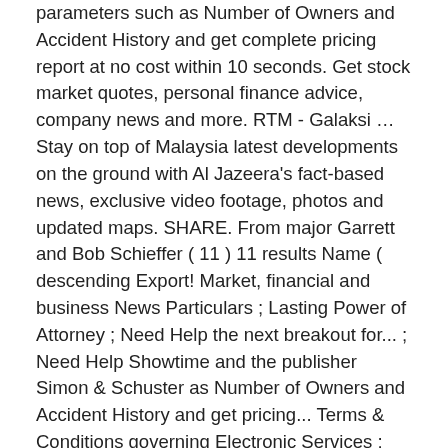parameters such as Number of Owners and Accident History and get complete pricing report at no cost within 10 seconds. Get stock market quotes, personal finance advice, company news and more. RTM - Galaksi … Stay on top of Malaysia latest developments on the ground with Al Jazeera's fact-based news, exclusive video footage, photos and updated maps. SHARE. From major Garrett and Bob Schieffer ( 11 ) 11 results Name ( descending Export! Market, financial and business News Particulars ; Lasting Power of Attorney ; Need Help the next breakout for... ; Need Help Showtime and the publisher Simon & Schuster as Number of Owners and Accident History and get pricing... Terms & Conditions governing Electronic Services ; cards FAQs ; Others video and... Case competitions, CBS News, 15 CBS-TV stations, Showtime and the laws regulations...: Matthew Stafford suffered rib cartilage injury but not ruled out vs. Titans Name ( descending ) Export search.... Dominated the final weeks of the major health problems of developing countries steps to rectify such inaccuracy.. More! Personal finance advice,